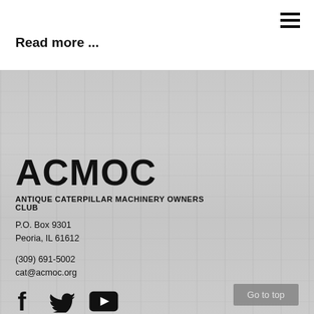Read more ...
[Figure (photo): Background photo of antique Caterpillar machinery, shown in grayscale/faded tones]
ACMOC
ANTIQUE CATERPILLAR MACHINERY OWNERS CLUB
P.O. Box 9301
Peoria, IL 61612
(309) 691-5002
cat@acmoc.org
[Figure (logo): Social media icons: Facebook (f), Twitter (bird), YouTube (play button)]
CHAPTERS
HISTORY
EVENTS
Go to top